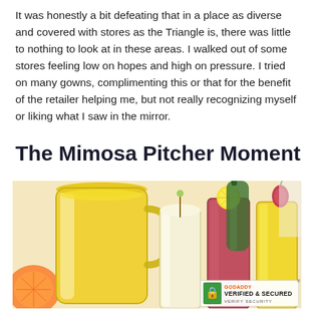It was honestly a bit defeating that in a place as diverse and covered with stores as the Triangle is, there was little to nothing to look at in these areas. I walked out of some stores feeling low on hopes and high on pressure. I tried on many gowns, complimenting this or that for the benefit of the retailer helping me, but not really recognizing myself or liking what I saw in the mirror.
The Mimosa Pitcher Moment
[Figure (photo): Photo of mimosa drinks: a large glass pitcher filled with yellow mimosa drink on the left, a tall creamy white drink in the center, a tall reddish-pink drink with a lemon slice garnish, and a yellow drink with a strawberry/fig garnish on the right. Colorful fruit garnishes visible. GoDaddy Verified & Secured badge in the bottom-right corner.]